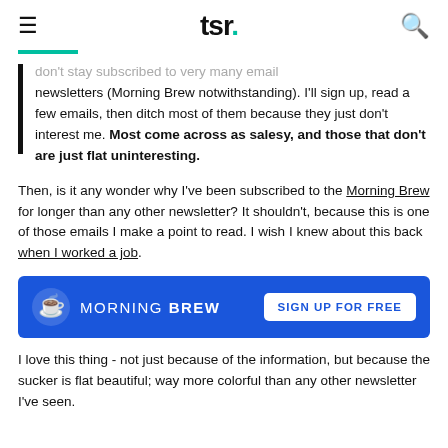tsr.
don't stay subscribed to very many email newsletters (Morning Brew notwithstanding). I'll sign up, read a few emails, then ditch most of them because they just don't interest me. Most come across as salesy, and those that don't are just flat uninteresting.
Then, is it any wonder why I've been subscribed to the Morning Brew for longer than any other newsletter? It shouldn't, because this is one of those emails I make a point to read. I wish I knew about this back when I worked a job.
[Figure (infographic): Morning Brew newsletter advertisement banner with coffee cup icon, 'MORNING BREW' text, and 'SIGN UP FOR FREE' button on blue background]
I love this thing - not just because of the information, but because the sucker is flat beautiful; way more colorful than any other newsletter I've seen.